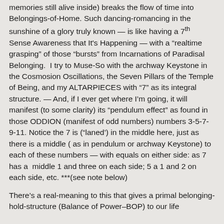memories still alive inside) breaks the flow of time into Belongings-of-Home. Such dancing-romancing in the sunshine of a glory truly known — is like having a 7th Sense Awareness that It's Happening — with a "realtime grasping" of those "bursts" from Incarnations of Paradisal Belonging.  I try to Muse-So with the archway Keystone in the Cosmosion Oscillations, the Seven Pillars of the Temple of Being, and my ALTARPIECES with "7" as its integral structure. — And, if I ever get where I'm going, it will manifest (to some clarity) its "pendulum effect" as found in those ODDION (manifest of odd numbers) numbers 3-5-7-9-11. Notice the 7 is ("laned') in the middle here, just as there is a middle ( as in pendulum or archway Keystone) to each of these numbers — with equals on either side: as 7 has a  middle 1 and three on each side; 5 a 1 and 2 on each side, etc. ***(see note below)
There's a real-meaning to this that gives a primal belonging-hold-structure (Balance of Power–BOP) to our life